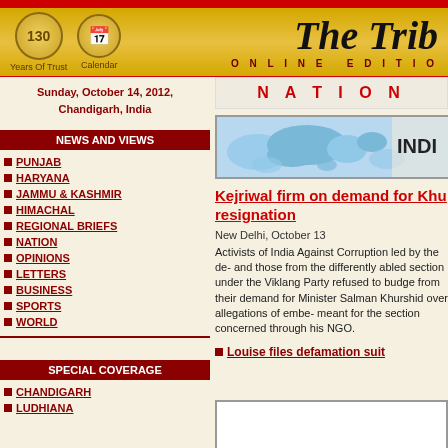The Tribune Online Edition — 130 Years Of Trust — Calendar
Sunday, October 14, 2012, Chandigarh, India
NEWS AND VIEWS
PUNJAB
HARYANA
JAMMU & KASHMIR
HIMACHAL
REGIONAL BRIEFS
NATION
OPINIONS
LETTERS
BUSINESS
SPORTS
WORLD
NATION
[Figure (map): World/India map graphic with INDIA label]
Kejriwal firm on demand for Khurshid's resignation
New Delhi, October 13
Activists of India Against Corruption led by the de- and those from the differently abled section under the Viklang Party refused to budge from their demand for Minister Salman Khurshid over allegations of embez- meant for the section concerned through his NGO.
Louise files defamation suit
SPECIAL COVERAGE
CHANDIGARH
LUDHIANA